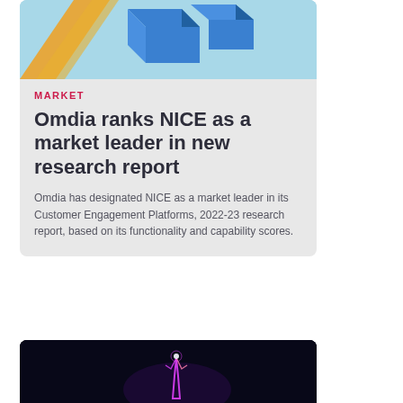[Figure (photo): Abstract 3D geometric blocks in blue, cyan, and orange/yellow on a light blue background]
MARKET
Omdia ranks NICE as a market leader in new research report
Omdia has designated NICE as a market leader in its Customer Engagement Platforms, 2022-23 research report, based on its functionality and capability scores.
[Figure (photo): Dark background with neon glowing hand pointing upward, purple and pink tones]